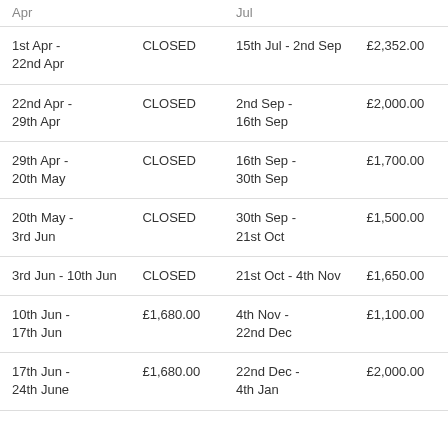| Apr |  | Jul |  |
| --- | --- | --- | --- |
| 1st Apr - 22nd Apr | CLOSED | 15th Jul - 2nd Sep | £2,352.00 |
| 22nd Apr - 29th Apr | CLOSED | 2nd Sep - 16th Sep | £2,000.00 |
| 29th Apr - 20th May | CLOSED | 16th Sep - 30th Sep | £1,700.00 |
| 20th May - 3rd Jun | CLOSED | 30th Sep - 21st Oct | £1,500.00 |
| 3rd Jun - 10th Jun | CLOSED | 21st Oct - 4th Nov | £1,650.00 |
| 10th Jun - 17th Jun | £1,680.00 | 4th Nov - 22nd Dec | £1,100.00 |
| 17th Jun - 24th June | £1,680.00 | 22nd Dec - 4th Jan | £2,000.00 |